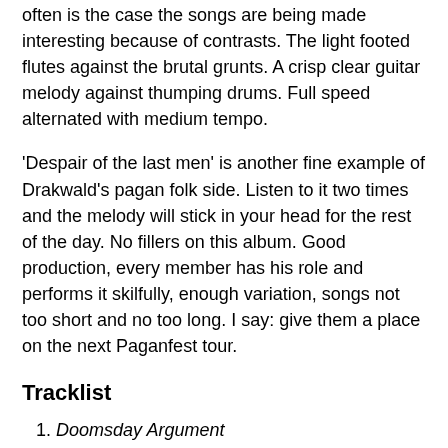often is the case the songs are being made interesting because of contrasts. The light footed flutes against the brutal grunts. A crisp clear guitar melody against thumping drums. Full speed alternated with medium tempo.
'Despair of the last men' is another fine example of Drakwald's pagan folk side. Listen to it two times and the melody will stick in your head for the rest of the day. No fillers on this album. Good production, every member has his role and performs it skilfully, enough variation, songs not too short and no too long. I say: give them a place on the next Paganfest tour.
Tracklist
1. Doomsday Argument
2. Erase by Fire
3. Primal Dawn
4. [partially visible]